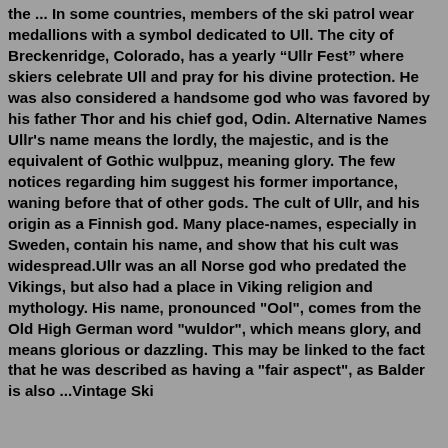the ... In some countries, members of the ski patrol wear medallions with a symbol dedicated to Ull. The city of Breckenridge, Colorado, has a yearly “Ullr Fest” where skiers celebrate Ull and pray for his divine protection. He was also considered a handsome god who was favored by his father Thor and his chief god, Odin. Alternative Names Ullr's name means the lordly, the majestic, and is the equivalent of Gothic wulþpuz, meaning glory. The few notices regarding him suggest his former importance, waning before that of other gods. The cult of Ullr, and his origin as a Finnish god. Many place-names, especially in Sweden, contain his name, and show that his cult was widespread.Ullr was an all Norse god who predated the Vikings, but also had a place in Viking religion and mythology. His name, pronounced "Ool", comes from the Old High German word "wuldor", which means glory, and means glorious or dazzling. This may be linked to the fact that he was described as having a "fair aspect", as Balder is also ...Vintage Ski